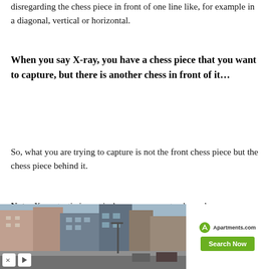disregarding the chess piece in front of one line like, for example in a diagonal, vertical or horizontal.
When you say X-ray, you have a chess piece that you want to capture, but there is another chess in front of it…
So, what you are trying to capture is not the front chess piece but the chess piece behind it.
Note: X-ray tactic is precisely synonymous to chess skewers.
[Figure (photo): Advertisement banner showing apartment buildings street view with Apartments.com logo and Search Now button]